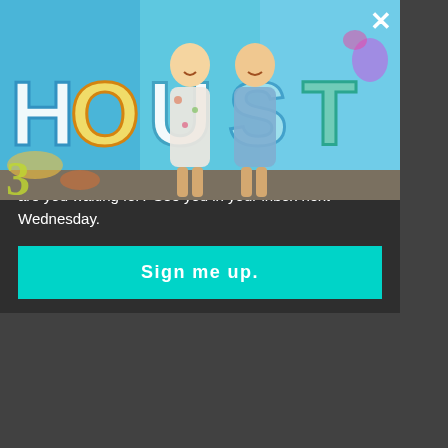On Wednesdays, we send newsletters.
Never miss a thing from us.
[Figure (photo): Two women laughing and posing in front of a colorful graffiti wall spelling HOUSTON]
Each week, we have a roundup of the latest blog posts, giveaways, can't miss events, and more. What are you waiting for? See you in your inbox next Wednesday.
Sign me up.